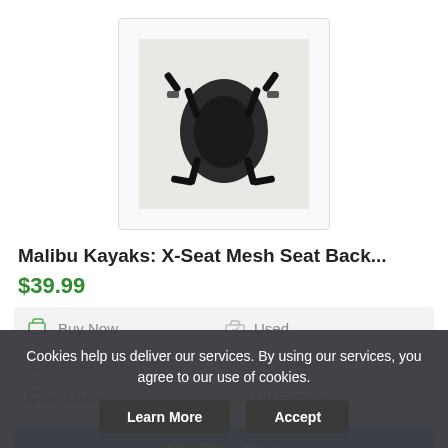[Figure (photo): Photo of a black kayak mesh seat back with straps, shown flat on a light surface.]
Malibu Kayaks: X-Seat Mesh Seat Back...
$39.99
| Buy Now | Used |
| 25 Day(s) 7 h(s) | Worldwide |
| 2 days | No Returns |
Buy Now
Cookies help us deliver our services. By using our services, you agree to our use of cookies.
Learn More   Accept